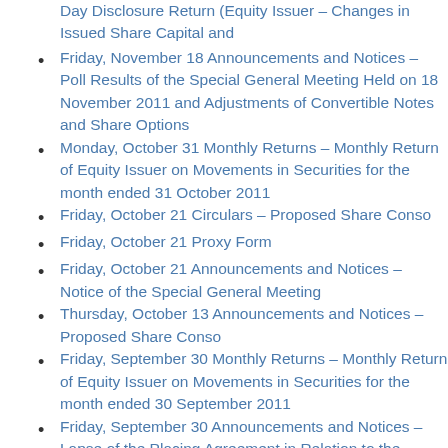Day Disclosure Return (Equity Issuer – Changes in Issued Share Capital and
Friday, November 18 Announcements and Notices – Poll Results of the Special General Meeting Held on 18 November 2011 and Adjustments of Convertible Notes and Share Options
Monday, October 31 Monthly Returns – Monthly Return of Equity Issuer on Movements in Securities for the month ended 31 October 2011
Friday, October 21 Circulars – Proposed Share Conso
Friday, October 21 Proxy Form
Friday, October 21 Announcements and Notices – Notice of the Special General Meeting
Thursday, October 13 Announcements and Notices – Proposed Share Conso
Friday, September 30 Monthly Returns – Monthly Return of Equity Issuer on Movements in Securities for the month ended 30 September 2011
Friday, September 30 Announcements and Notices – Lapse of the Placing Agreement in Relation to the Placing of Un